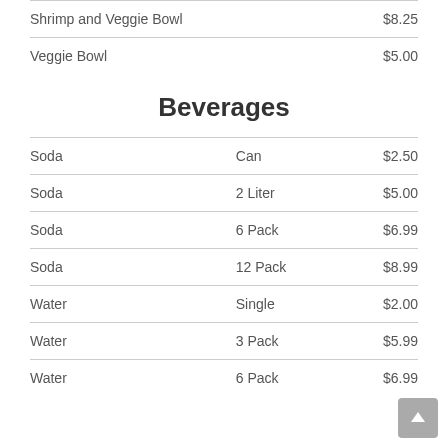| Item |  | Price |
| --- | --- | --- |
| Shrimp and Veggie Bowl |  | $8.25 |
| Veggie Bowl |  | $5.00 |
Beverages
| Item | Size | Price |
| --- | --- | --- |
| Soda | Can | $2.50 |
| Soda | 2 Liter | $5.00 |
| Soda | 6 Pack | $6.99 |
| Soda | 12 Pack | $8.99 |
| Water | Single | $2.00 |
| Water | 3 Pack | $5.99 |
| Water | 6 Pack | $6.99 |